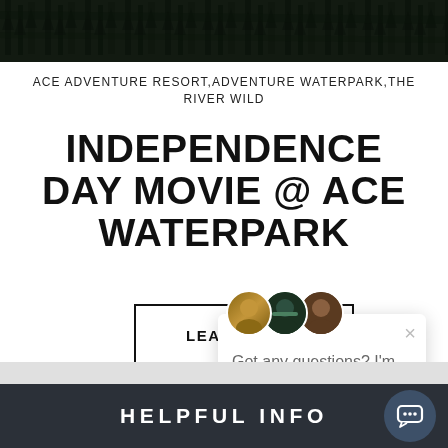[Figure (photo): Dark textured nature/forest background image at top of page]
ACE ADVENTURE RESORT,ADVENTURE WATERPARK,THE RIVER WILD
INDEPENDENCE DAY MOVIE @ ACE WATERPARK
[Figure (screenshot): LEARN MORE button with rectangular border, followed by a chat popup overlay with avatars, close button (×), and text 'Got any questions? I'm happy to help.']
HELPFUL INFO